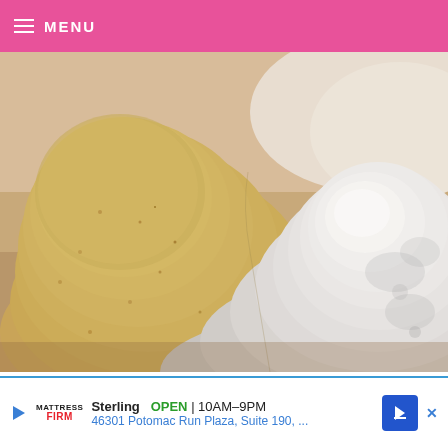MENU
[Figure (photo): Close-up photograph of two mounds of powder in a bowl — golden/tan colored ground almonds on the left and white confectioners' sugar on the right, on a warm beige background]
Place the confectioners’ sugar and the ground
Sterling  OPEN | 10AM-9PM  46301 Potomac Run Plaza, Suite 190, ...